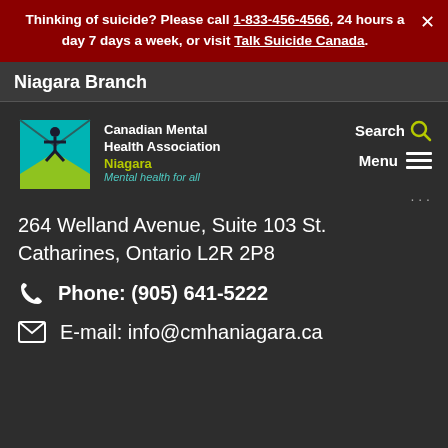Thinking of suicide? Please call 1-833-456-4566, 24 hours a day 7 days a week, or visit Talk Suicide Canada.
Niagara Branch
[Figure (logo): Canadian Mental Health Association Niagara logo with teal/green geometric design and text: Canadian Mental Health Association, Niagara, Mental health for all]
Search
Menu
264 Welland Avenue, Suite 103 St. Catharines, Ontario L2R 2P8
Phone: (905) 641-5222
E-mail: info@cmhaniagara.ca